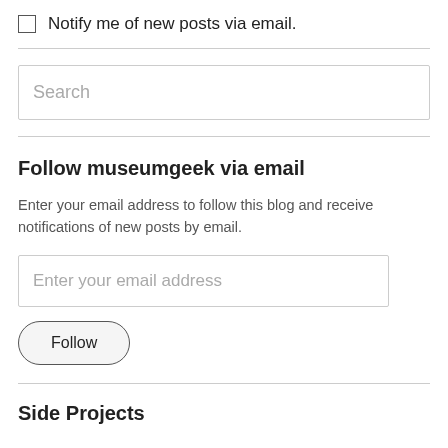Notify me of new posts via email.
[Figure (other): Search input box with placeholder text 'Search']
Follow museumgeek via email
Enter your email address to follow this blog and receive notifications of new posts by email.
[Figure (other): Email address input field with placeholder 'Enter your email address' and a Follow button below]
Side Projects